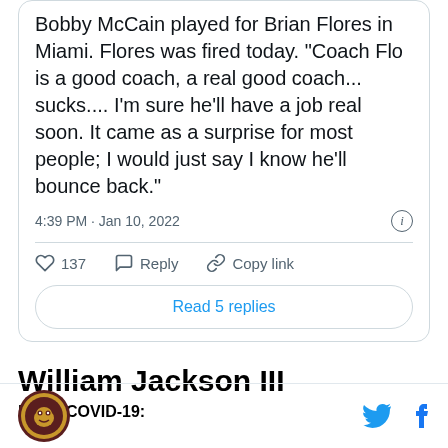Bobby McCain played for Brian Flores in Miami. Flores was fired today. "Coach Flo is a good coach, a real good coach... sucks.... I'm sure he'll have a job real soon. It came as a surprise for most people; I would just say I know he'll bounce back."
4:39 PM · Jan 10, 2022
137   Reply   Copy link
Read 5 replies
William Jackson III
Injury/COVID-19:
[Figure (logo): Circular team logo with gold and maroon colors]